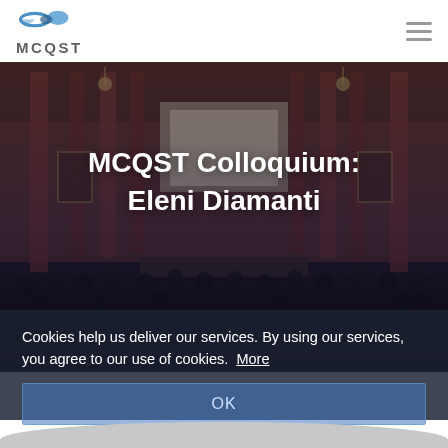[Figure (logo): MCQST logo with stylized swoosh graphic and text 'MCQST' below]
MCQST Colloquium: Eleni Diamanti
[Figure (photo): Background photo of a large lecture hall/auditorium with audience, columns, chandeliers, and a projection screen at the front, overlaid with a dark semi-transparent gradient]
Cookies help us deliver our services. By using our services, you agree to our use of cookies.  More
OK